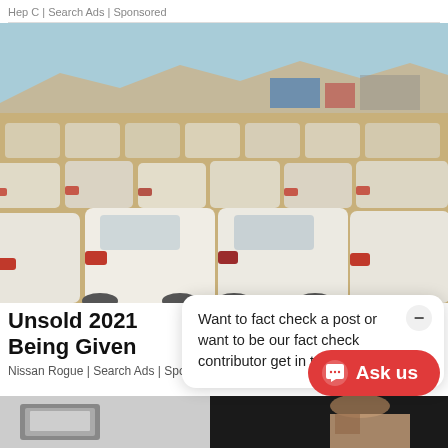Hep C | Search Ads | Sponsored
[Figure (photo): Large outdoor car lot with rows of white cars parked in a dusty/arid environment, viewed from behind the vehicles. Mountains or hills visible in the background under a clear sky.]
Want to fact check a post or want to be our fact check contributor get in touch
Unsold 2021 Being Given
Nissan Rogue | Search Ads | Sponsored
[Figure (photo): Bottom strip showing partial images — left side appears to be a computer/tech image, right side shows a person.]